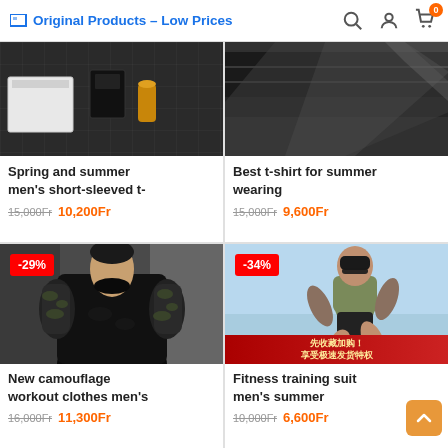Original Products – Low Prices
[Figure (screenshot): Product image of men's t-shirts on dark grid background]
Spring and summer men's short-sleeved t-
15,000Fr  10,200Fr
[Figure (screenshot): Product image of dark folded fabric/t-shirt]
Best t-shirt for summer wearing
15,000Fr  9,600Fr
[Figure (photo): Man wearing black camouflage workout shirt at gym, -29% discount badge]
New camouflage workout clothes men's
16,000Fr  11,300Fr
[Figure (photo): Man running in olive fitness t-shirt and dark shorts on blue background, -34% discount badge, Chinese text banner]
Fitness training suit men's summer
10,000Fr  6,600Fr